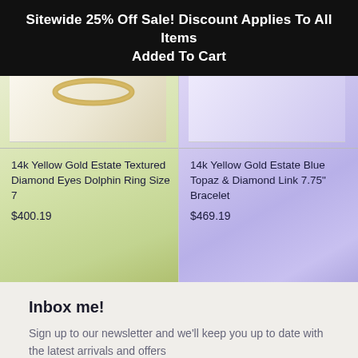Sitewide 25% Off Sale! Discount Applies To All Items Added To Cart
14k Yellow Gold Estate Textured Diamond Eyes Dolphin Ring Size 7
$400.19
14k Yellow Gold Estate Blue Topaz & Diamond Link 7.75" Bracelet
$469.19
Inbox me!
Sign up to our newsletter and we'll keep you up to date with the latest arrivals and offers